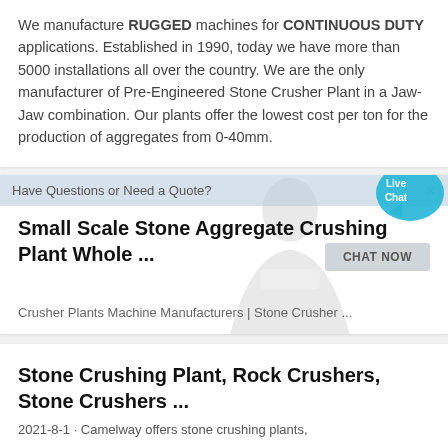We manufacture RUGGED machines for CONTINUOUS DUTY applications. Established in 1990, today we have more than 5000 installations all over the country. We are the only manufacturer of Pre-Engineered Stone Crusher Plant in a Jaw-Jaw combination. Our plants offer the lowest cost per ton for the production of aggregates from 0-40mm.
Small Scale Stone Aggregate Crushing Plant Whole ...
Crusher Plants Machine Manufacturers | Stone Crusher ...
Stone Crushing Plant, Rock Crushers, Stone Crushers ...
2021-8-1 · Camelway offers stone crushing plants,